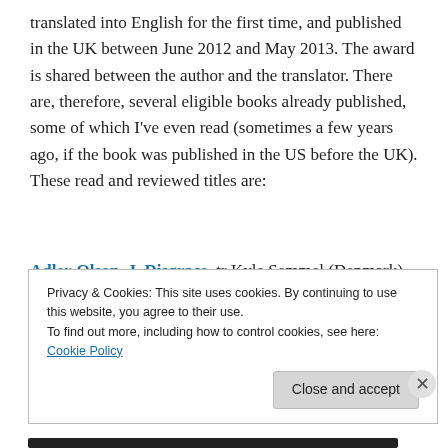translated into English for the first time, and published in the UK between June 2012 and May 2013. The award is shared between the author and the translator. There are, therefore, several eligible books already published, some of which I've even read (sometimes a few years ago, if the book was published in the US before the UK). These read and reviewed titles are:
Adler-Olson, J. Disgrace, tr Kyle Semmel (Denmark)
Dahl, A. The Blinded Man, tr Tiina Nunnally (reviewed as Misterioso, the US edition and title) (Sweden)
Privacy & Cookies: This site uses cookies. By continuing to use this website, you agree to their use.
To find out more, including how to control cookies, see here: Cookie Policy